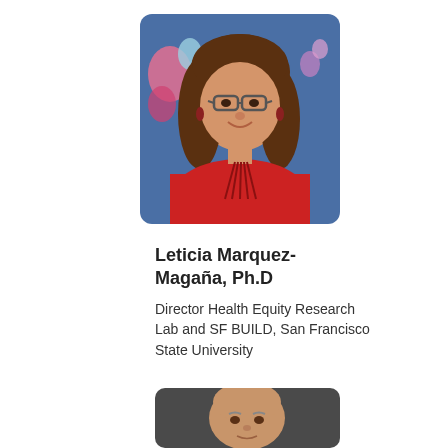[Figure (photo): Portrait photo of Leticia Marquez-Magaña, a woman with shoulder-length dark hair wearing glasses and a red top, against a blue background with colorful decorative elements]
Leticia Marquez-Magaña, Ph.D
Director Health Equity Research Lab and SF BUILD, San Francisco State University
[Figure (photo): Portrait photo of a man with a bald head against a dark grey background, partial view]